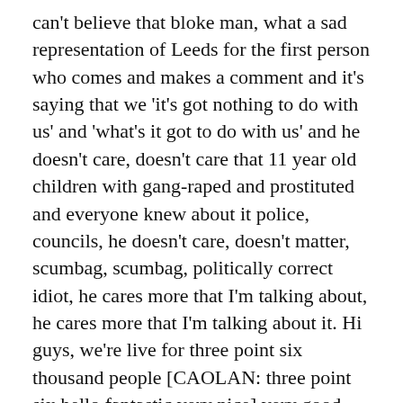can't believe that bloke man, what a sad representation of Leeds for the first person who comes and makes a comment and it's saying that we 'it's got nothing to do with us' and 'what's it got to do with us' and he doesn't care, doesn't care that 11 year old children with gang-raped and prostituted and everyone knew about it police, councils, he doesn't care, doesn't matter, scumbag, scumbag, politically correct idiot, he cares more that I'm talking about, he cares more that I'm talking about it. Hi guys, we're live for three point six thousand people [CAOLAN: three point six hello fantastic very nice] very good hello, and did you miss them as they come into court: 'fuck your mother', the difference is that most of these